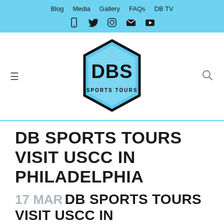Blog  Media  Gallery  FAQs  DB TV
[Figure (logo): DBS Sports Tours hexagon logo with light blue fill and dark border, text 'DBS SPORTS TOURS' inside]
DB SPORTS TOURS VISIT USCC IN PHILADELPHIA
17 MAR DB SPORTS TOURS VISIT USCC IN PHILADELPHIA